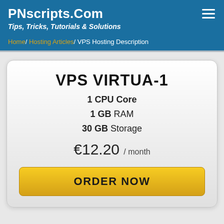PNscripts.Com
Tips, Tricks, Tutorials & Solutions
Home / Hosting Articles / VPS Hosting Description
VPS VIRTUA-1
1 CPU Core
1 GB RAM
30 GB Storage
€12.20 / month
ORDER NOW